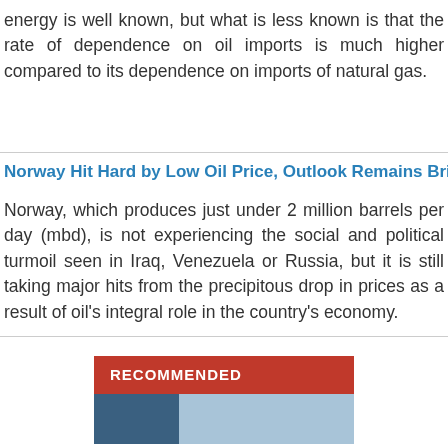energy is well known, but what is less known is that the rate of dependence on oil imports is much higher compared to its dependence on imports of natural gas.
Norway Hit Hard by Low Oil Price, Outlook Remains Bright
Norway, which produces just under 2 million barrels per day (mbd), is not experiencing the social and political turmoil seen in Iraq, Venezuela or Russia, but it is still taking major hits from the precipitous drop in prices as a result of oil's integral role in the country's economy.
[Figure (other): Recommended section banner with red header and partial image below]